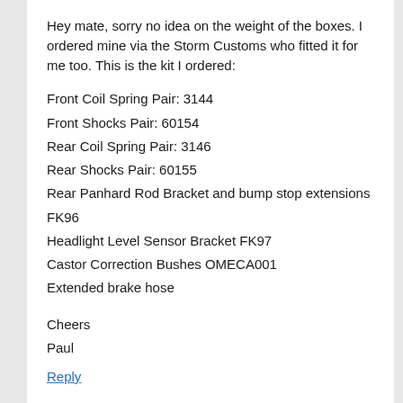Hey mate, sorry no idea on the weight of the boxes. I ordered mine via the Storm Customs who fitted it for me too. This is the kit I ordered:
Front Coil Spring Pair: 3144
Front Shocks Pair: 60154
Rear Coil Spring Pair: 3146
Rear Shocks Pair: 60155
Rear Panhard Rod Bracket and bump stop extensions FK96
Headlight Level Sensor Bracket FK97
Castor Correction Bushes OMECA001
Extended brake hose
Cheers
Paul
Reply